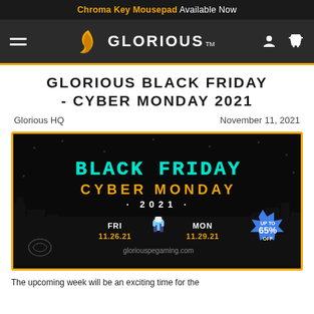Chroma Key Mousepad Available Now
[Figure (logo): Glorious PC Gaming brand logo with orange flame/feather icon and white GLORIOUS text on dark nav bar with hamburger menu and cart/user icons]
GLORIOUS BLACK FRIDAY - CYBER MONDAY 2021
Glorious HQ    November 11, 2021
[Figure (illustration): Black Friday Cyber Monday 2021 promotional banner with neon teal Black Friday text, orange Cyber Monday text, 2021, dates FRI 11.26.21 MON 11.29.21, pixel art character, and UP TO 65% OFF starburst badge]
The upcoming week will be an exciting time for the